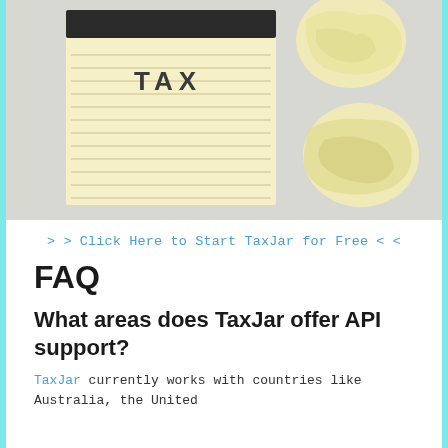[Figure (photo): Photo of a yellow legal notepad with 'TAX' written on it, surrounded by crumpled yellow paper balls on a light gray background]
>> Click Here to Start TaxJar for Free <<
FAQ
What areas does TaxJar offer API support?
TaxJar currently works with countries like Australia, the United